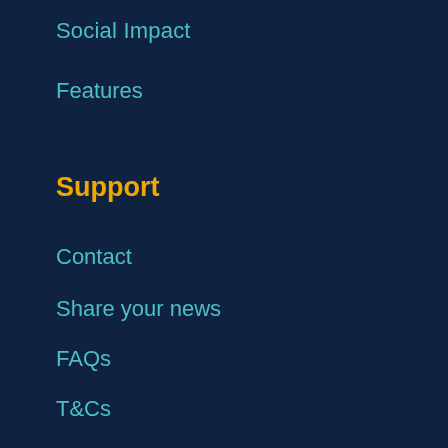Social Impact
Features
Support
Contact
Share your news
FAQs
T&Cs
Login
Username or Email Address
Password